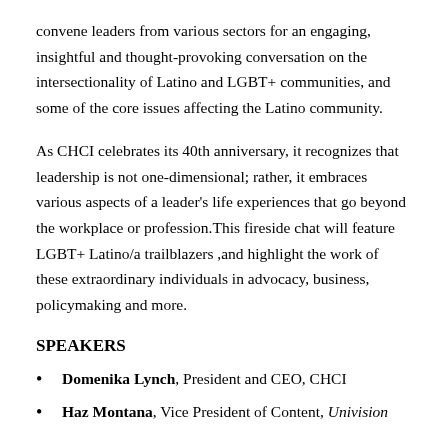convene leaders from various sectors for an engaging, insightful and thought-provoking conversation on the intersectionality of Latino and LGBT+ communities, and some of the core issues affecting the Latino community.
As CHCI celebrates its 40th anniversary, it recognizes that leadership is not one-dimensional; rather, it embraces various aspects of a leader's life experiences that go beyond the workplace or profession.This fireside chat will feature LGBT+ Latino/a trailblazers ,and highlight the work of these extraordinary individuals in advocacy, business, policymaking and more.
SPEAKERS
Domenika Lynch, President and CEO, CHCI
Haz Montana, Vice President of Content, Univision